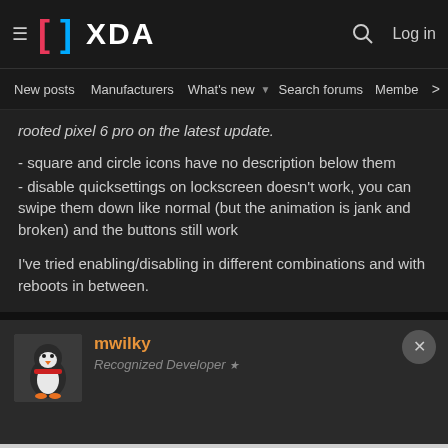XDA Developers — New posts | Manufacturers | What's new | Search forums | Members | Log in
rooted pixel 6 pro on the latest update.
- square and circle icons have no description below them
- disable quicksettings on lockscreen doesn't work, you can swipe them down like normal (but the animation is jank and broken) and the buttons still work
I've tried enabling/disabling in different combinations and with reboots in between.
mwilky
Recognized Developer
May 25, 2022